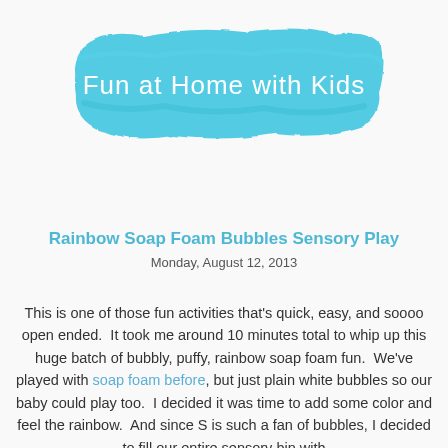[Figure (logo): Watercolor teal/cyan brush stroke banner with white text reading 'Fun at Home with Kids']
Rainbow Soap Foam Bubbles Sensory Play
Monday, August 12, 2013
This is one of those fun activities that's quick, easy, and soooo open ended.  It took me around 10 minutes total to whip up this huge batch of bubbly, puffy, rainbow soap foam fun.  We've played with soap foam before, but just plain white bubbles so our baby could play too.  I decided it was time to add some color and feel the rainbow.  And since S is such a fan of bubbles, I decided to fill our entire sensory bin with